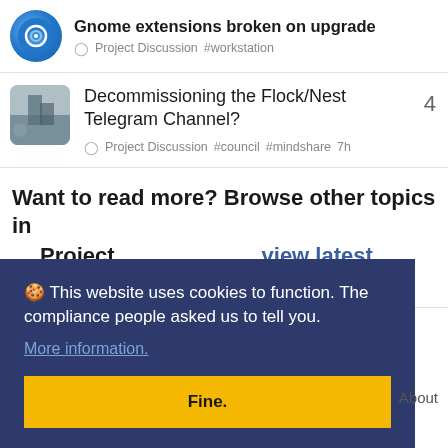Gnome extensions broken on upgrade
Project Discussion #workstation
Decommissioning the Flock/Nest Telegram Channel?
Project Discussion #council #mindshare  7h  4
Want to read more? Browse other topics in Project Discussion or view latest topics.
🍪 This website uses cookies to function. The compliance people asked us to tell you.
More information.
Fine.